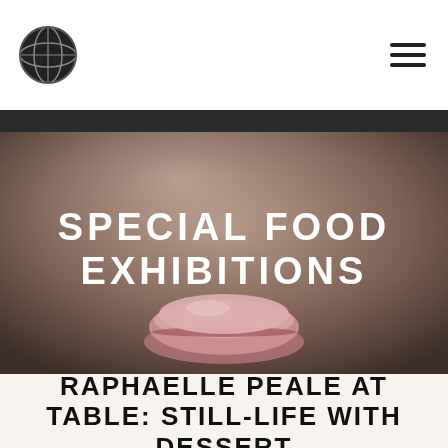Special Food Exhibitions — navigation header with logo and hamburger menu
[Figure (photo): Blurred photo of a pink macaron being held by a hand, with soft warm bokeh background. Overlaid text reads SPECIAL FOOD EXHIBITIONS in bold white uppercase letters.]
RAPHAELLE PEALE AT TABLE: STILL-LIFE WITH DESSERT